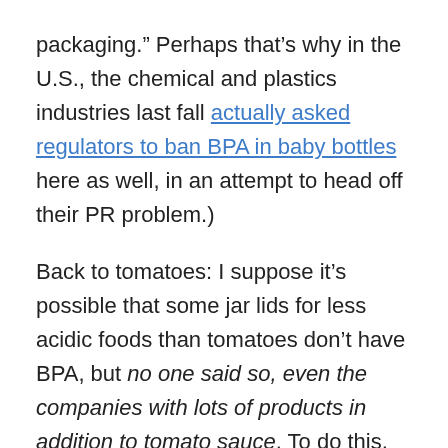packaging.” Perhaps that’s why in the U.S., the chemical and plastics industries last fall actually asked regulators to ban BPA in baby bottles here as well, in an attempt to head off their PR problem.)
Back to tomatoes: I suppose it’s possible that some jar lids for less acidic foods than tomatoes don’t have BPA, but no one said so, even the companies with lots of products in addition to tomato sauce. To do this, companies would have to source BPA-free jars and non-BPA free jars for different foods, which would likely raise expenses.
I would bet, based on these answers, that most companies have not even bothered to try to obtain BPA-free lids for jars in the absence of any regulation or public information to the contrary.